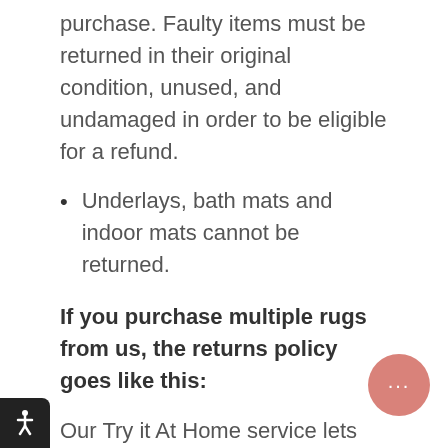purchase. Faulty items must be returned in their original condition, unused, and undamaged in order to be eligible for a refund.
Underlays, bath mats and indoor mats cannot be returned.
If you purchase multiple rugs from us, the returns policy goes like this:
Our Try it At Home service lets you try the rug at your home so you can ensure it brings your vision to life! We will pay to ship the rug to you and even pay to ship it back to us if you don't like it! Given the bulky nature of rugs, shipping and returning them for free comes at a cost to us, so our Try it At Home service is subject to fair use guidelines...